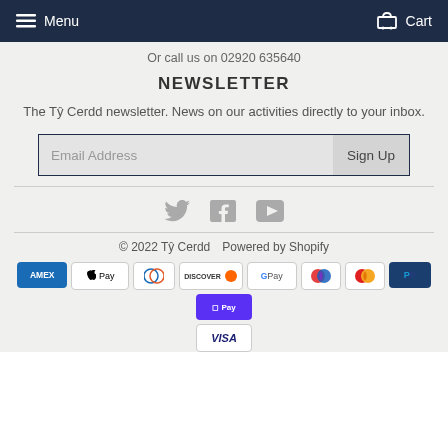Menu  Cart
Or call us on 02920 635640
NEWSLETTER
The Tŷ Cerdd newsletter. News on our activities directly to your inbox.
Email Address  Sign Up
[Figure (other): Social media icons: Twitter, Facebook, YouTube]
© 2022 Tŷ Cerdd  Powered by Shopify
[Figure (other): Payment method icons: Amex, Apple Pay, Diners, Discover, Google Pay, Maestro, Mastercard, PayPal, Shopify Pay, Visa]